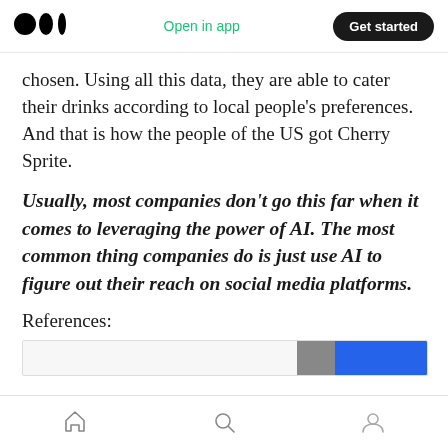Medium logo | Open in app | Get started
chosen. Using all this data, they are able to cater their drinks according to local people’s preferences. And that is how the people of the US got Cherry Sprite.
Usually, most companies don’t go this far when it comes to leveraging the power of AI. The most common thing companies do is just use AI to figure out their reach on social media platforms.
References:
[Figure (screenshot): Partial preview of a reference link with a thumbnail image on the right side showing a dark/blue banner.]